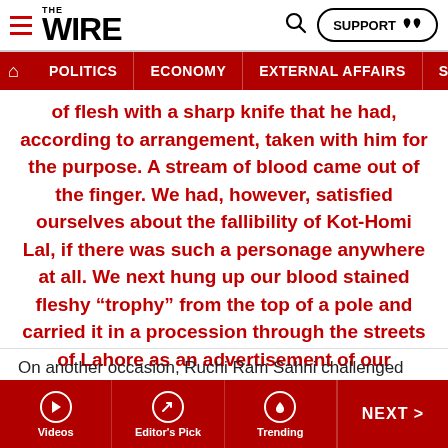THE WIRE — navigation bar with POLITICS, ECONOMY, EXTERNAL AFFAIRS, SECU...
of flesh with a sharp knife that he had, according to arrangement, taken with him for the purpose. A stream of blood came out of the finger. We had, however, satisfied ourselves about the fallibility of Kot-Homi Lal, if there was such a personage anywhere at all. We next hung up our blood stained fleshy “trophy” from the top of a pole and carried it in a procession through the streets of Lahore as an advertisement of our achievement.
On another occasion, Ruchi Ram Sahni challenged Madame Blavatsky, whose views on thought reading, clairvoyance, ghosts and many other psychic phenomena
Videos | Editor's Pick | Trending | NEXT >